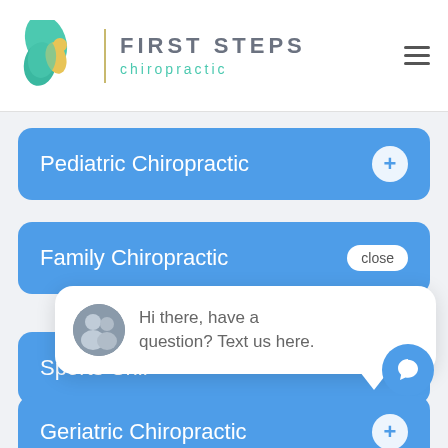[Figure (logo): First Steps Chiropractic logo with teal and yellow swoosh figures, vertical gold divider, brand name FIRST STEPS in gray uppercase and 'chiropractic' in teal]
Pediatric Chiropractic
Family Chiropractic
Sports Chir[opractic]
Geriatric Chiropractic
Hi there, have a question? Text us here.